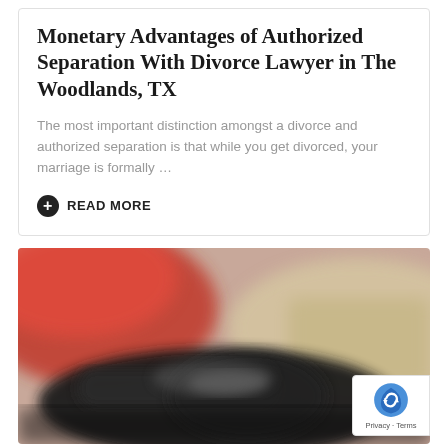Monetary Advantages of Authorized Separation With Divorce Lawyer in The Woodlands, TX
The most important distinction amongst a divorce and authorized separation is that while you get divorced, your marriage is formally …
+ READ MORE
[Figure (photo): Blurred close-up photograph of what appears to be a gun or firearm with red and beige blurred background elements]